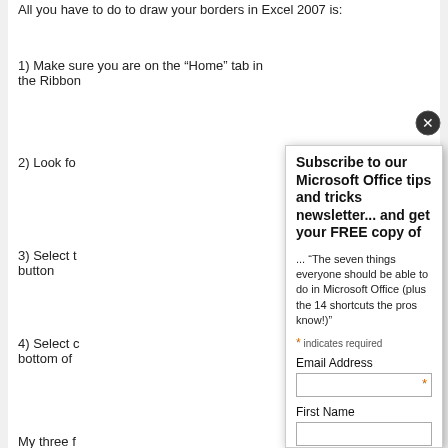All you have to do to draw your borders in Excel 2007 is:
1) Make sure you are on the “Home” tab in the Ribbon
2) Look fo...
3) Select t... button
4) Select c... bottom of...
My three f... Draw Bord... around a g... you (as th... Border, wh... border!
So next tim... profession... check out...
[Figure (other): Newsletter subscription popup overlay with title 'Subscribe to our Microsoft Office tips and tricks newsletter... and get your FREE copy of', promotional text, and form fields for Email Address, First Name, Last Name with an orange asterisk required indicator.]
re r ws
re you